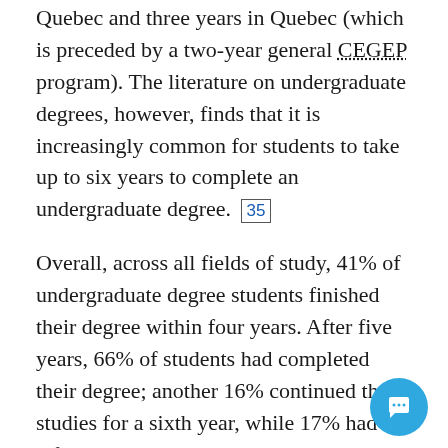Quebec and three years in Quebec (which is preceded by a two-year general CEGEP program). The literature on undergraduate degrees, however, finds that it is increasingly common for students to take up to six years to complete an undergraduate degree. [35]
Overall, across all fields of study, 41% of undergraduate degree students finished their degree within four years. After five years, 66% of students had completed their degree; another 16% continued their studies for a sixth year, while 17% had left undergraduate studies. Women graduated more quickly than men, with 47% of women